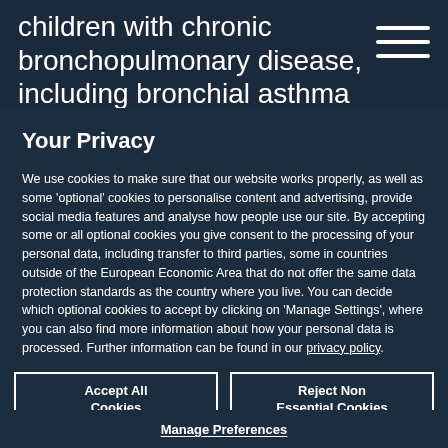children with chronic bronchopulmonary disease, including bronchial asthma
Your Privacy
We use cookies to make sure that our website works properly, as well as some ‘optional’ cookies to personalise content and advertising, provide social media features and analyse how people use our site. By accepting some or all optional cookies you give consent to the processing of your personal data, including transfer to third parties, some in countries outside of the European Economic Area that do not offer the same data protection standards as the country where you live. You can decide which optional cookies to accept by clicking on ‘Manage Settings’, where you can also find more information about how your personal data is processed. Further information can be found in our privacy policy.
Accept All Cookies
Reject Non Essential Cookies
Manage Preferences